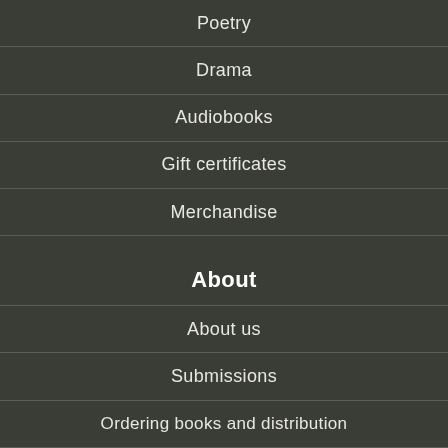Poetry
Drama
Audiobooks
Gift certificates
Merchandise
About
About us
Submissions
Ordering books and distribution